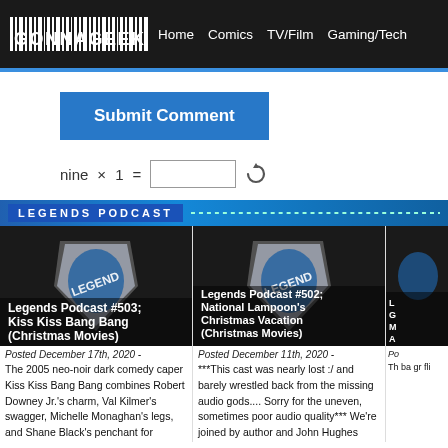GONNAGEEK  Home  Comics  TV/Film  Gaming/Tech
Submit Comment
nine × 1 =  [input]  ↻
LEGENDS PODCAST
[Figure (screenshot): Legends Podcast #503 cover image with shield logo on dark background]
Legends Podcast #503; Kiss Kiss Bang Bang (Christmas Movies)
Posted December 17th, 2020 -
The 2005 neo-noir dark comedy caper Kiss Kiss Bang Bang combines Robert Downey Jr.'s charm, Val Kilmer's swagger, Michelle Monaghan's legs, and Shane Black's penchant for
[Figure (screenshot): Legends Podcast #502 cover image with shield logo on dark background]
Legends Podcast #502; National Lampoon's Christmas Vacation (Christmas Movies)
Posted December 11th, 2020 -
***This cast was nearly lost :/ and barely wrestled back from the missing audio gods.... Sorry for the uneven, sometimes poor audio quality*** We're joined by author and John Hughes
[Figure (screenshot): Third podcast cover partially visible]